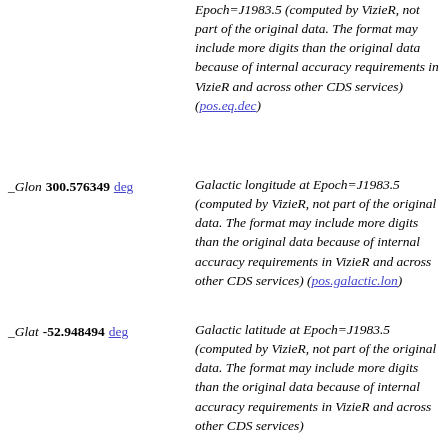Epoch=J1983.5 (computed by VizieR, not part of the original data. The format may include more digits than the original data because of internal accuracy requirements in VizieR and across other CDS services) (pos.eq.dec)
_Glon   300.576349 deg   Galactic longitude at Epoch=J1983.5 (computed by VizieR, not part of the original data. The format may include more digits than the original data because of internal accuracy requirements in VizieR and across other CDS services) (pos.galactic.lon)
_Glat   -52.948494 deg   Galactic latitude at Epoch=J1983.5 (computed by VizieR, not part of the original data. The format may include more digits than the original data because of internal accuracy requirements in VizieR and across other CDS services)